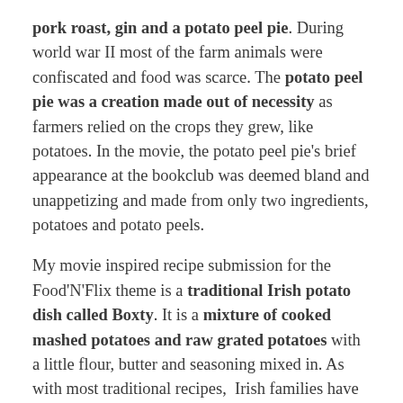pork roast, gin and a potato peel pie. During world war II most of the farm animals were confiscated and food was scarce. The potato peel pie was a creation made out of necessity as farmers relied on the crops they grew, like potatoes. In the movie, the potato peel pie's brief appearance at the bookclub was deemed bland and unappetizing and made from only two ingredients, potatoes and potato peels.
My movie inspired recipe submission for the Food'N'Flix theme is a traditional Irish potato dish called Boxty. It is a mixture of cooked mashed potatoes and raw grated potatoes with a little flour, butter and seasoning mixed in. As with most traditional recipes, Irish families have their own variations on how they prepare and cook boxty, be it on a griddle or in a pan, we even have